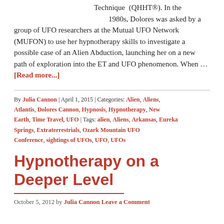Technique (QHHT®). In the 1980s, Dolores was asked by a group of UFO researchers at the Mutual UFO Network (MUFON) to use her hypnotherapy skills to investigate a possible case of an Alien Abduction, launching her on a new path of exploration into the ET and UFO phenomenon. When … [Read more...]
By Julia Cannon | April 1, 2015 | Categories: Alien, Aliens, Atlantis, Dolores Cannon, Hypnosis, Hypnotherapy, New Earth, Time Travel, UFO | Tags: alien, Aliens, Arkansas, Eureka Springs, Extraterrestrials, Ozark Mountain UFO Conference, sightings of UFOs, UFO, UFOs
Hypnotherapy on a Deeper Level
October 5, 2012 by Julia Cannon Leave a Comment